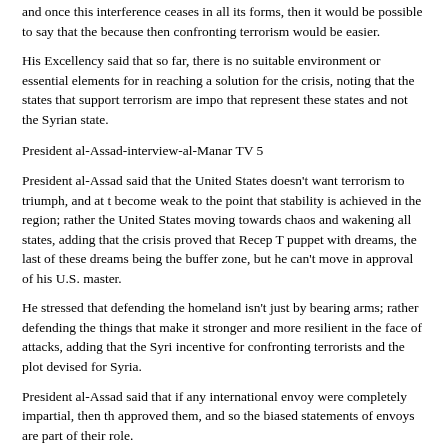and once this interference ceases in all its forms, then it would be possible to say that the because then confronting terrorism would be easier.
His Excellency said that so far, there is no suitable environment or essential elements for in reaching a solution for the crisis, noting that the states that support terrorism are impo that represent these states and not the Syrian state.
President al-Assad-interview-al-Manar TV 5
President al-Assad said that the United States doesn't want terrorism to triumph, and at t become weak to the point that stability is achieved in the region; rather the United States moving towards chaos and wakening all states, adding that the crisis proved that Recep T puppet with dreams, the last of these dreams being the buffer zone, but he can't move in approval of his U.S. master.
He stressed that defending the homeland isn't just by bearing arms; rather defending the things that make it stronger and more resilient in the face of attacks, adding that the Syri incentive for confronting terrorists and the plot devised for Syria.
President al-Assad said that if any international envoy were completely impartial, then th approved them, and so the biased statements of envoys are part of their role.
He also reiterated that any initiative must respect Syria's sovereignty and territorial integ the Syrian people while prioritizing counterterrorism.
Excerpts from the full interview (Read the full interview to get the whole context. There statements which could have come from the American Founding Fathers themselves, suc entanglements"! )